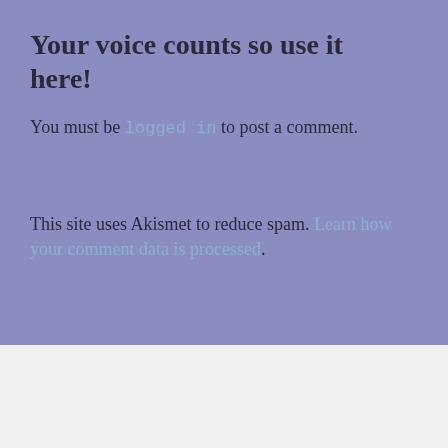Your voice counts so use it here!
You must be logged in to post a comment.
This site uses Akismet to reduce spam. Learn how your comment data is processed.
Advertisements
[Figure (screenshot): DuckDuckGo advertisement banner: orange left side with text 'Search, browse, and email with more privacy. All in One Free App' and dark right side with DuckDuckGo logo and duck icon.]